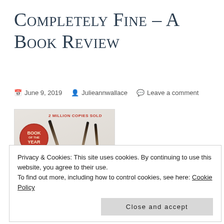Completely Fine – a Book Review
June 9, 2019   Julieannwallace   Leave a comment
[Figure (photo): Book cover of Eleanor Oliphant is Completely Fine showing matches arranged as a house shape, with '2 Million Copies Sold' and 'Book of the Year' badge, quote 'funny, touching and unpredictable - Jojo Moyes']
Privacy & Cookies: This site uses cookies. By continuing to use this website, you agree to their use.
To find out more, including how to control cookies, see here: Cookie Policy
Close and accept
Title: Eleanor Oliphant is Completely Fine